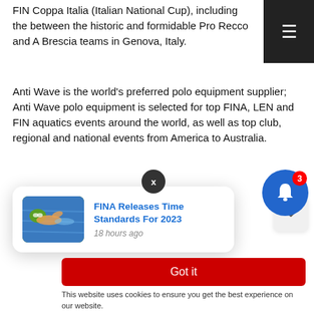FIN Coppa Italia (Italian National Cup), including the between the historic and formidable Pro Recco and A Brescia teams in Genova, Italy.
Anti Wave is the world's preferred polo equipment supplier; Anti Wave polo equipment is selected for top FINA, LEN and FIN aquatics events around the world, as well as top club, regional and national events from America to Australia.
Anti Wave congratulates Pro Recco on their historic 16th Coppa Italia Win, taking down AN Brescia 8-7 during March 2023 competition.
[Figure (screenshot): Notification popup card showing 'FINA Releases Time Standards For 2023' article with swimmer thumbnail image, posted 18 hours ago, with X close button and blue notification bell with badge count 3]
Got it
This website uses cookies to ensure you get the best experience on our website.